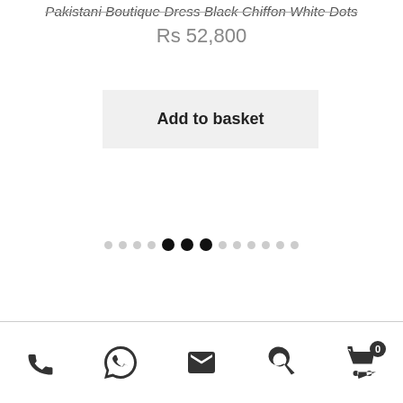Pakistani Boutique Dress Black Chiffon White Dots
Rs 52,800
Add to basket
[Figure (other): Carousel pagination dots: 13 dots total, dots 5, 6, and 7 are filled black (active), rest are light gray]
Phone, WhatsApp, Email, Search, Cart (0) icons